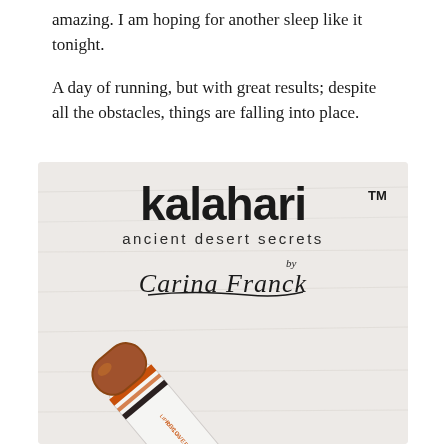amazing. I am hoping for another sleep like it tonight.
A day of running, but with great results; despite all the obstacles, things are falling into place.
[Figure (photo): Kalahari brand product photo showing a white tube of 'Lipid Plus Recovery' skincare product with a copper/brown cap, lying on a white fabric background. The Kalahari logo reads 'kalahari™ ancient desert secrets by Carina Franck'.]